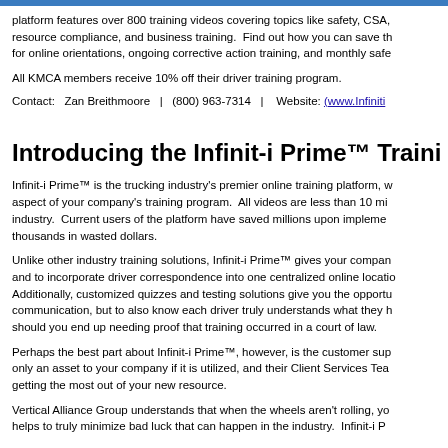platform features over 800 training videos covering topics like safety, CSA, resource compliance, and business training. Find out how you can save th for online orientations, ongoing corrective action training, and monthly safe
All KMCA members receive 10% off their driver training program.
Contact:   Zan Breithmoore   |   (800) 963-7314   |   Website: (www.Infiniti…
Introducing the Infinit-i Prime™ Traini…
Infinit-i Prime™ is the trucking industry's premier online training platform, w… aspect of your company's training program. All videos are less than 10 mi… industry. Current users of the platform have saved millions upon implemen… thousands in wasted dollars.
Unlike other industry training solutions, Infinit-i Prime™ gives your compan… and to incorporate driver correspondence into one centralized online locatio… Additionally, customized quizzes and testing solutions give you the opportu… communication, but to also know each driver truly understands what they h… should you end up needing proof that training occurred in a court of law.
Perhaps the best part about Infinit-i Prime™, however, is the customer sup… only an asset to your company if it is utilized, and their Client Services Tea… getting the most out of your new resource.
Vertical Alliance Group understands that when the wheels aren't rolling, yo… helps to truly minimize bad luck that can happen in the industry. Infinit-i P…